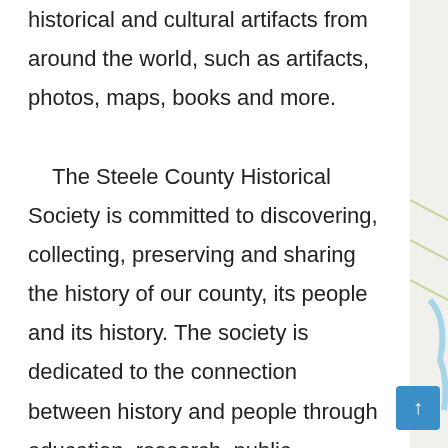historical and cultural artifacts from around the world, such as artifacts, photos, maps, books and more.

The Steele County Historical Society is committed to discovering, collecting, preserving and sharing the history of our county, its people and its history. The society is dedicated to the connection between history and people through education, research, public relations, education and community engagement. Membership in the North Dakota Museum of Art helps to